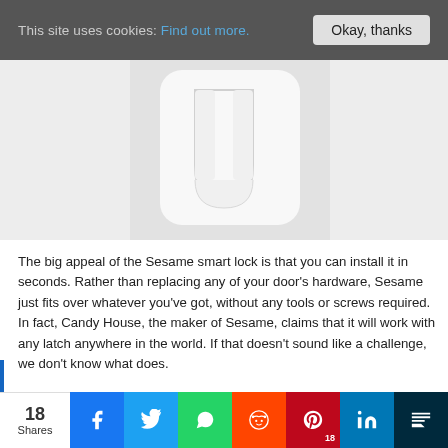This site uses cookies: Find out more.  [Okay, thanks]
[Figure (photo): White Sesame smart lock device shown from the front against a light grey background]
The big appeal of the Sesame smart lock is that you can install it in seconds. Rather than replacing any of your door's hardware, Sesame just fits over whatever you've got, without any tools or screws required. In fact, Candy House, the maker of Sesame, claims that it will work with any latch anywhere in the world. If that doesn't sound like a challenge, we don't know what does.
Anyway, Sesame works via BlueTooth or wifi (the wifi is optional and helps to prolong battery life) and is controlled via its corresponding app, which is simple and easy to use. You can lock or unlock your door, knock
18 Shares  [Facebook] [Twitter] [WhatsApp] [Reddit] [Pinterest 18] [LinkedIn] [Mix]